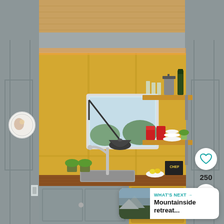[Figure (photo): Interior photo of a compact tiny home kitchen. The kitchen features yellow painted walls with board-and-batten paneling, gray lower cabinets with round knob hardware, warm wood butcher block countertops, a stainless steel sink with a modern faucet, and a small window above the sink with an articulating pendant lamp. Two tiers of floating wood shelves on the right hold glassware, a French press coffee maker, canned goods, white bowls, a small plant, and a cookbook titled 'CHEF'. Yellow drawers are on the right side. Decorative plates hang on the gray side walls. Natural wood ceiling beams are visible overhead. The overall aesthetic is modern farmhouse tiny home style.]
250
WHAT'S NEXT → Mountainside retreat...